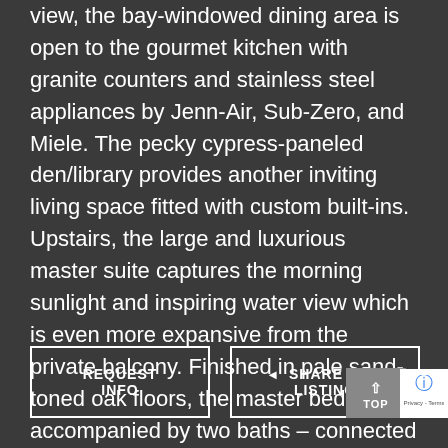view, the bay-windowed dining area is open to the gourmet kitchen with granite counters and stainless steel appliances by Jenn-Air, Sub-Zero, and Miele. The pecky cypress-paneled den/library provides another inviting living space fitted with custom built-ins. Upstairs, the large and luxurious master suite captures the morning sunlight and inspiring water view which is even more expansive from the private balcony. Finished in pale sand-toned oak floors, the master bedroom is accompanied by two baths – connected by a shower – both with customized walk-in closets. Across the hall, served by a laundry room with morning bar, two more bedrooms are served by another bath.
REQUEST INFO
SHARE THIS LISTING